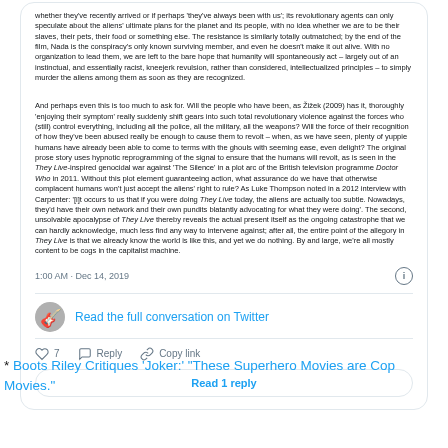whether they've recently arrived or if perhaps 'they've always been with us'; its revolutionary agents can only speculate about the aliens' ultimate plans for the planet and its people, with no idea whether we are to be their slaves, their pets, their food or something else. The resistance is similarly totally outmatched; by the end of the film, Nada is the conspiracy's only known surviving member, and even he doesn't make it out alive. With no organization to lead them, we are left to the bare hope that humanity will spontaneously act – largely out of an instinctual, and essentially racist, kneejerk revulsion, rather than considered, intellectualized principles – to simply murder the aliens among them as soon as they are recognized.
And perhaps even this is too much to ask for. Will the people who have been, as Žižek (2009) has it, thoroughly 'enjoying their symptom' really suddenly shift gears into such total revolutionary violence against the forces who (still) control everything, including all the police, all the military, all the weapons? Will the force of their recognition of how they've been abused really be enough to cause them to revolt – when, as we have seen, plenty of yuppie humans have already been able to come to terms with the ghouls with seeming ease, even delight? The original prose story uses hypnotic reprogramming of the signal to ensure that the humans will revolt, as is seen in the They Live-inspired genocidal war against 'The Silence' in a plot arc of the British television programme Doctor Who in 2011. Without this plot element guaranteeing action, what assurance do we have that otherwise complacent humans won't just accept the aliens' right to rule? As Luke Thompson noted in a 2012 interview with Carpenter: '[i]t occurs to us that if you were doing They Live today, the aliens are actually too subtle. Nowadays, they'd have their own network and their own pundits blatantly advocating for what they were doing'. The second, unsolvable apocalypse of They Live thereby reveals the actual present itself as the ongoing catastrophe that we can hardly acknowledge, much less find any way to intervene against; after all, the entire point of the allegory in They Live is that we already know the world is like this, and yet we do nothing. By and large, we're all mostly content to be cogs in the capitalist machine.
1:00 AM · Dec 14, 2019
Read the full conversation on Twitter
♡ 7   Reply   Copy link
Read 1 reply
* Boots Riley Critiques 'Joker:' "These Superhero Movies are Cop Movies."